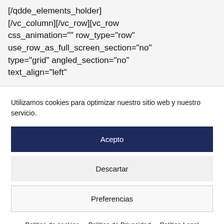[/qdde_elements_holder]
[/vc_column][/vc_row][vc_row css_animation="" row_type="row" use_row_as_full_screen_section="no" type="grid" angled_section="no" text_align="left"
Utilizamos cookies para optimizar nuestro sitio web y nuestro servicio.
Acepto
Descartar
Preferencias
Política de cookies  Política de Privacidad  Política Legal